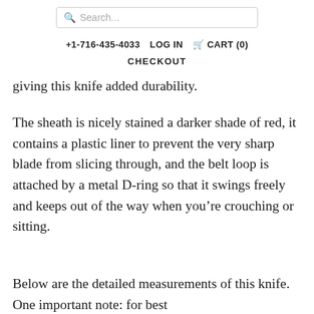Search...
+1-716-435-4033   LOG IN   🛒 CART (0)
CHECKOUT
giving this knife added durability.
The sheath is nicely stained a darker shade of red, it contains a plastic liner to prevent the very sharp blade from slicing through, and the belt loop is attached by a metal D-ring so that it swings freely and keeps out of the way when you're crouching or sitting.
Below are the detailed measurements of this knife. One important note: for best